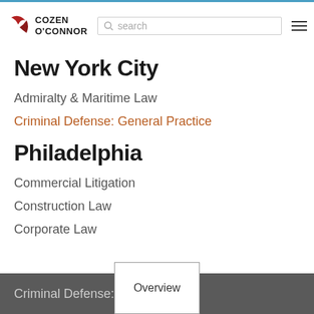Cozen O'Connor
New York City
Admiralty & Maritime Law
Criminal Defense: General Practice
Philadelphia
Commercial Litigation
Construction Law
Corporate Law
Criminal Defense: White-Collar